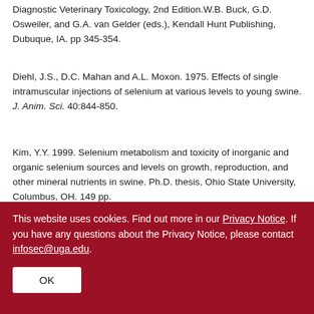Diagnostic Veterinary Toxicology, 2nd Edition.W.B. Buck, G.D. Osweiler, and G.A. van Gelder (eds.), Kendall Hunt Publishing, Dubuque, IA. pp 345-354.
Diehl, J.S., D.C. Mahan and A.L. Moxon. 1975. Effects of single intramuscular injections of selenium at various levels to young swine. J. Anim. Sci. 40:844-850.
Kim, Y.Y. 1999. Selenium metabolism and toxicity of inorganic and organic selenium sources and levels on growth, reproduction, and other mineral nutrients in swine. Ph.D. thesis, Ohio State University, Columbus, OH. 149 pp.
Mahan, D.C. and A.L. Moxon. 1984. Effect of inorganic selenium
This website uses cookies. Find out more in our Privacy Notice. If you have any questions about the Privacy Notice, please contact infosec@uga.edu.
OK